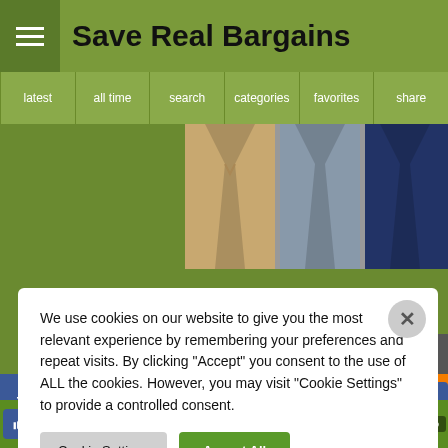☰  Save Real Bargains
latest  all time  search  categories  favorites  share
[Figure (screenshot): Background image of suits/clothing on hangers]
We use cookies on our website to give you the most relevant experience by remembering your preferences and repeat visits. By clicking "Accept" you consent to the use of ALL the cookies. However, you may visit "Cookie Settings" to provide a controlled consent.
Cookie Settings    Accept All
[Figure (infographic): Social sharing icons bar with Facebook, Twitter, Reddit, LinkedIn, Pinterest, Mix, WhatsApp, Tumblr, Instagram, Blogger, Messenger, Telegram and other social network icons. Facebook Share button on right.]
[Figure (other): Bottom bar with Like, Tweet, Save, Share buttons and Powered By VideoPal.io badge]